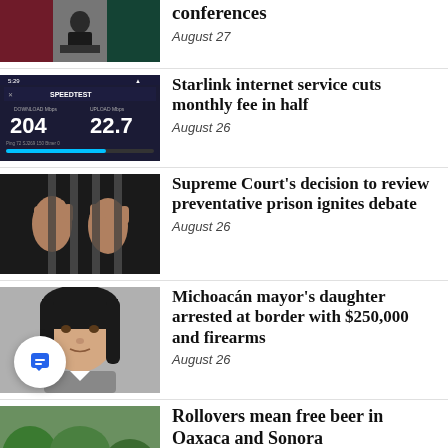[Figure (photo): Partial top news item photo - Mexico flag/press conference scene]
conferences
August 27
[Figure (screenshot): Speedtest app screenshot showing 204 download and 22.7 upload speeds]
Starlink internet service cuts monthly fee in half
August 26
[Figure (photo): Hands gripping prison bars]
Supreme Court’s decision to review preventative prison ignites debate
August 26
[Figure (photo): Mugshot of young woman with dark hair]
Michoacán mayor’s daughter arrested at border with $250,000 and firearms
August 26
[Figure (photo): Partial bottom news item - rollover accident scene]
Rollovers mean free beer in Oaxaca and Sonora